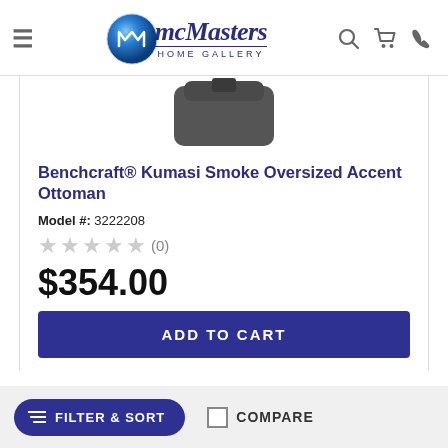[Figure (logo): McMasters Home Gallery logo with blue globe and italic serif text]
[Figure (photo): Partial view of Benchcraft Kumasi Smoke Oversized Accent Ottoman product image, dark colored ottoman clipped at top]
Benchcraft® Kumasi Smoke Oversized Accent Ottoman
Model #: 3222208
★★★★★ (0)
$354.00
ADD TO CART
FILTER & SORT
COMPARE